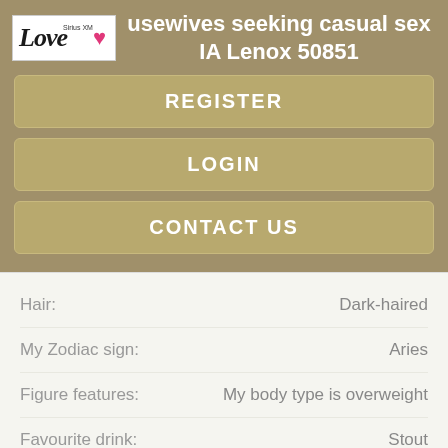Housewives seeking casual sex IA Lenox 50851
REGISTER
LOGIN
CONTACT US
| Field | Value |
| --- | --- |
| Hair: | Dark-haired |
| My Zodiac sign: | Aries |
| Figure features: | My body type is overweight |
| Favourite drink: | Stout |